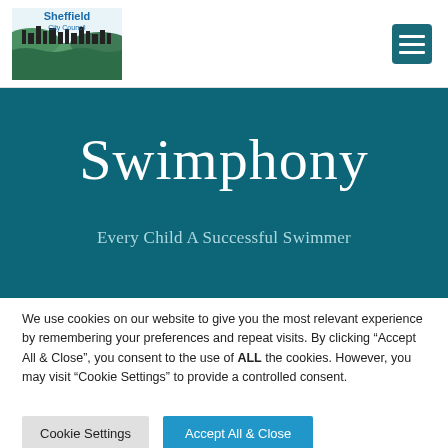[Figure (logo): Sheffield City Council logo with city skyline and green hills illustration, blue text]
[Figure (other): Hamburger menu icon (three white horizontal lines on teal background)]
Swimphony
Every Child A Successful Swimmer
We use cookies on our website to give you the most relevant experience by remembering your preferences and repeat visits. By clicking “Accept All & Close”, you consent to the use of ALL the cookies. However, you may visit “Cookie Settings” to provide a controlled consent.